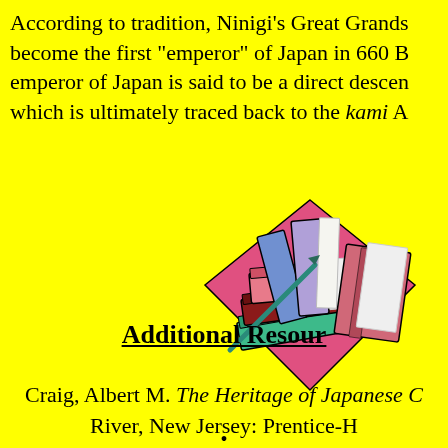According to tradition, Ninigi's Great Grands become the first "emperor" of Japan in 660 B emperor of Japan is said to be a direct descen which is ultimately traced back to the kami A
[Figure (illustration): Clip art illustration of a stack of books with colorful covers on a diamond-shaped background]
Additional Resources
Craig, Albert M. The Heritage of Japanese C River, New Jersey: Prentice-H
•